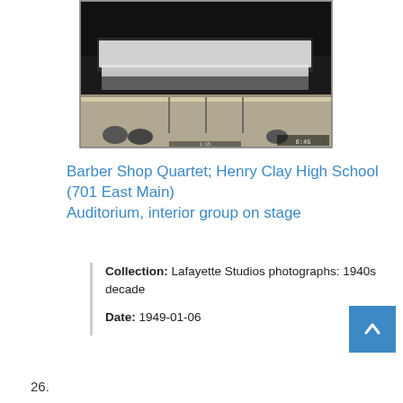[Figure (photo): Black and white photograph of a large group of people in white tops standing on a stage in an auditorium, photographed from the front. Stage lighting equipment visible on the floor.]
Barber Shop Quartet; Henry Clay High School (701 East Main) Auditorium, interior group on stage
Collection: Lafayette Studios photographs: 1940s decade
Date: 1949-01-06
26.